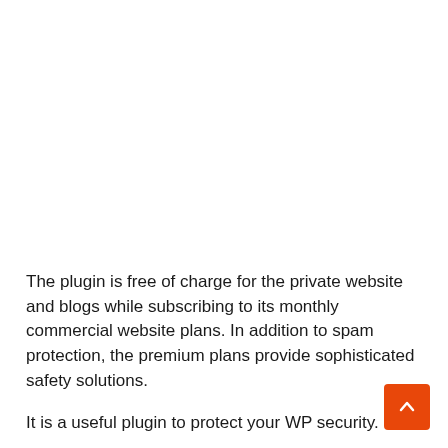The plugin is free of charge for the private website and blogs while subscribing to its monthly commercial website plans. In addition to spam protection, the premium plans provide sophisticated safety solutions.
It is a useful plugin to protect your WP security.